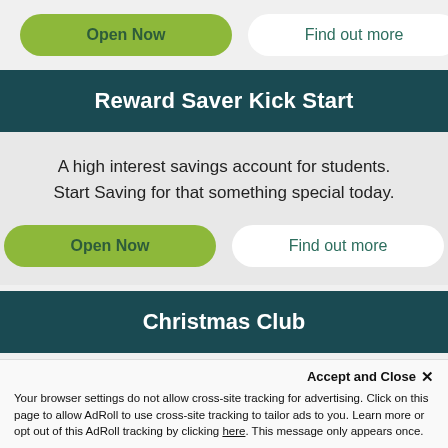[Figure (screenshot): Two buttons: 'Open Now' (green pill) and 'Find out more' (white pill) on grey background]
Reward Saver Kick Start
A high interest savings account for students. Start Saving for that something special today.
[Figure (screenshot): Two buttons: 'Open Now' (green pill) and 'Find out more' (white pill) on grey background]
Christmas Club
Accept and Close ✕
Your browser settings do not allow cross-site tracking for advertising. Click on this page to allow AdRoll to use cross-site tracking to tailor ads to you. Learn more or opt out of this AdRoll tracking by clicking here. This message only appears once.